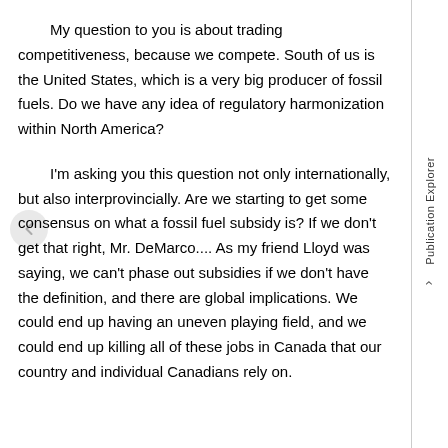My question to you is about trading competitiveness, because we compete. South of us is the United States, which is a very big producer of fossil fuels. Do we have any idea of regulatory harmonization within North America?
I'm asking you this question not only internationally, but also interprovincially. Are we starting to get some consensus on what a fossil fuel subsidy is? If we don't get that right, Mr. DeMarco.... As my friend Lloyd was saying, we can't phase out subsidies if we don't have the definition, and there are global implications. We could end up having an uneven playing field, and we could end up killing all of these jobs in Canada that our country and individual Canadians rely on.